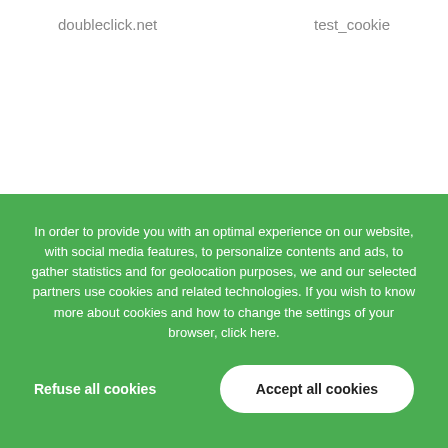doubleclick.net
test_cookie
In order to provide you with an optimal experience on our website, with social media features, to personalize contents and ads, to gather statistics and for geolocation purposes, we and our selected partners use cookies and related technologies. If you wish to know more about cookies and how to change the settings of your browser, click here.
Refuse all cookies
Accept all cookies